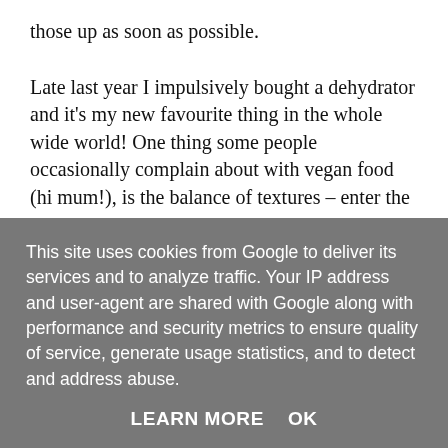those up as soon as possible.

Late last year I impulsively bought a dehydrator and it's my new favourite thing in the whole wide world! One thing some people occasionally complain about with vegan food (hi mum!), is the balance of textures – enter the dehydrator! As well as being a great preserver, the DH (that's what the cool kids call it), gives me the ability to have crispy things without frying, flour or pastry. It also means that you still get to eat some foods still in
This site uses cookies from Google to deliver its services and to analyze traffic. Your IP address and user-agent are shared with Google along with performance and security metrics to ensure quality of service, generate usage statistics, and to detect and address abuse.
LEARN MORE   OK